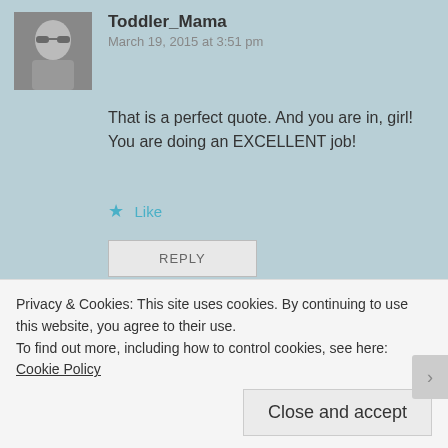[Figure (photo): Avatar photo of Toddler_Mama, a woman with sunglasses]
Toddler_Mama
March 19, 2015 at 3:51 pm
That is a perfect quote. And you are in, girl! You are doing an EXCELLENT job!
Like
REPLY
[Figure (illustration): Geometric quilt-pattern avatar for Emily-Jane in orange and white]
Emily-Jane
March 19, 2015 at 3:43 pm
Privacy & Cookies: This site uses cookies. By continuing to use this website, you agree to their use.
To find out more, including how to control cookies, see here: Cookie Policy
Close and accept